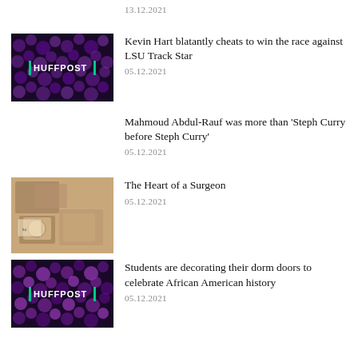13.12.2021
[Figure (screenshot): HuffPost thumbnail with purple crowd background and HuffPost logo]
Kevin Hart blatantly cheats to win the race against LSU Track Star
05.12.2021
Mahmoud Abdul-Rauf was more than 'Steph Curry before Steph Curry'
05.12.2021
[Figure (photo): Collage of photographs and documents on a tan/beige background]
The Heart of a Surgeon
05.12.2021
[Figure (screenshot): HuffPost thumbnail with purple crowd background and HuffPost logo]
Students are decorating their dorm doors to celebrate African American history
05.12.2021